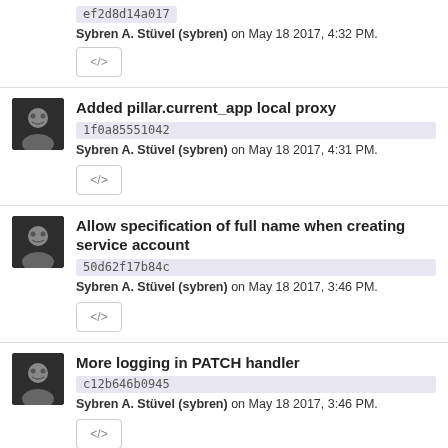ef2d8d14a017
Sybren A. Stüvel (sybren) on May 18 2017, 4:32 PM.
[Figure (other): Code button with </> icon]
Added pillar.current_app local proxy
1f0a85551042
Sybren A. Stüvel (sybren) on May 18 2017, 4:31 PM.
[Figure (other): Code button with </> icon]
Allow specification of full name when creating service account
50d62f17b84c
Sybren A. Stüvel (sybren) on May 18 2017, 3:46 PM.
[Figure (other): Code button with </> icon]
More logging in PATCH handler
c12b646b0945
Sybren A. Stüvel (sybren) on May 18 2017, 3:46 PM.
[Figure (other): Code button with </> icon]